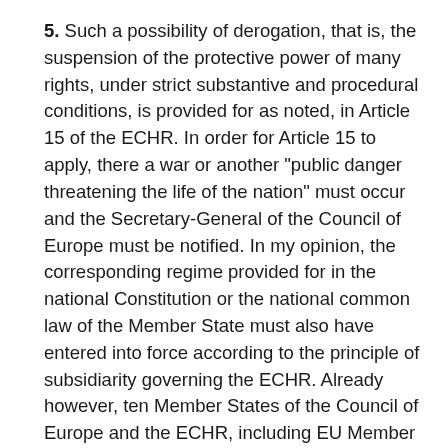5. Such a possibility of derogation, that is, the suspension of the protective power of many rights, under strict substantive and procedural conditions, is provided for as noted, in Article 15 of the ECHR. In order for Article 15 to apply, there a war or another "public danger threatening the life of the nation" must occur and the Secretary-General of the Council of Europe must be notified. In my opinion, the corresponding regime provided for in the national Constitution or the national common law of the Member State must also have entered into force according to the principle of subsidiarity governing the ECHR. Already however, ten Member States of the Council of Europe and the ECHR, including EU Member States, have already notified the Secretary General of the Council of Europe on the activation of Article 15, because according to their national Constitution or their national legal order, they have